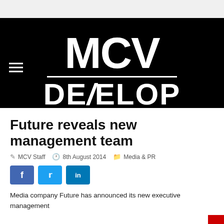[Figure (logo): MCV/DEVELOP logo on black background with hamburger menu icon]
Future reveals new management team
MCV Staff  8th August 2014  Media & PR
[Figure (infographic): Social share buttons: Facebook, Twitter, LinkedIn]
Media company Future has announced its new executive management